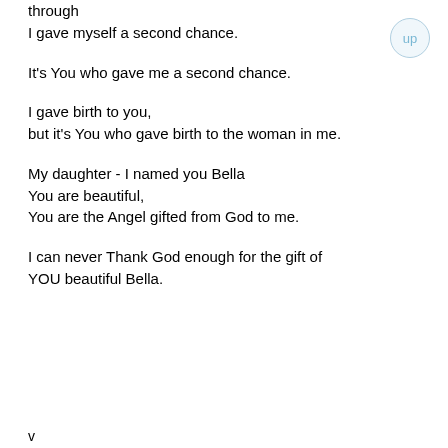through
I gave myself a second chance.
It's You who gave me a second chance.
I gave birth to you,
but it's You who gave birth to the woman in me.
My daughter - I named you Bella
You are beautiful,
You are the Angel gifted from God to me.
I can never Thank God enough for the gift of
YOU beautiful Bella.
v